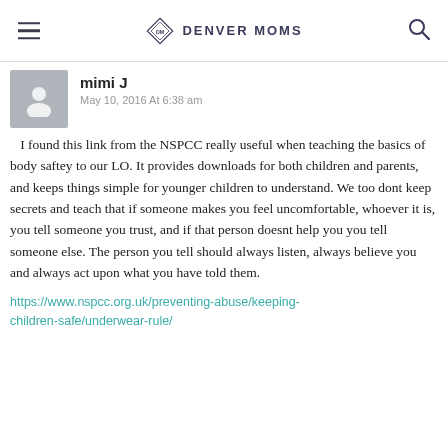Denver Moms
mimi J
May 10, 2016 At 6:38 am
I found this link from the NSPCC really useful when teaching the basics of body saftey to our LO. It provides downloads for both children and parents, and keeps things simple for younger children to understand. We too dont keep secrets and teach that if someone makes you feel uncomfortable, whoever it is, you tell someone you trust, and if that person doesnt help you you tell someone else. The person you tell should always listen, always believe you and always act upon what you have told them.
https://www.nspcc.org.uk/preventing-abuse/keeping-children-safe/underwear-rule/